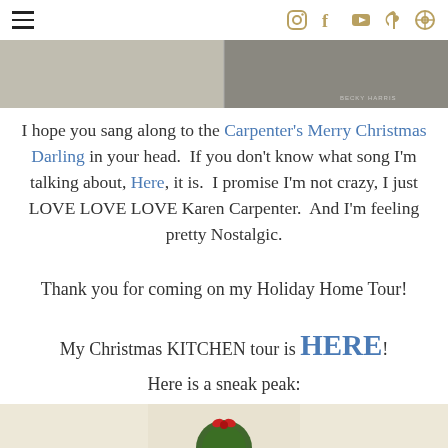Navigation bar with hamburger menu and social icons (Instagram, Facebook, YouTube, Pinterest, Search)
[Figure (photo): Partial photo at top of page, light gray/beige tones, appears to be a home interior]
I hope you sang along to the Carpenter's Merry Christmas Darling in your head. If you don't know what song I'm talking about, Here, it is. I promise I'm not crazy, I just LOVE LOVE LOVE Karen Carpenter. And I'm feeling pretty Nostalgic.
Thank you for coming on my Holiday Home Tour!
My Christmas KITCHEN tour is HERE!
Here is a sneak peak:
[Figure (photo): Bottom portion of a kitchen photo showing a wreath with red bow on white cabinetry]